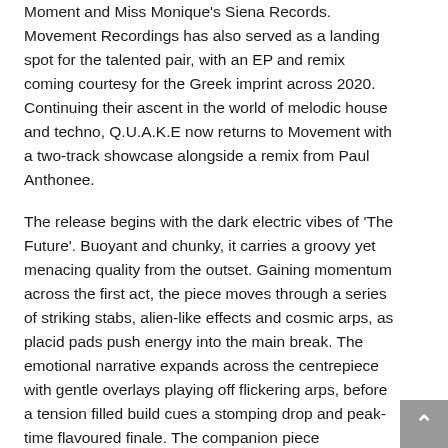Moment and Miss Monique's Siena Records. Movement Recordings has also served as a landing spot for the talented pair, with an EP and remix coming courtesy for the Greek imprint across 2020. Continuing their ascent in the world of melodic house and techno, Q.U.A.K.E now returns to Movement with a two-track showcase alongside a remix from Paul Anthonee.
The release begins with the dark electric vibes of 'The Future'. Buoyant and chunky, it carries a groovy yet menacing quality from the outset. Gaining momentum across the first act, the piece moves through a series of striking stabs, alien-like effects and cosmic arps, as placid pads push energy into the main break. The emotional narrative expands across the centrepiece with gentle overlays playing off flickering arps, before a tension filled build cues a stomping drop and peak-time flavoured finale. The companion piece 'Woodpecker' follows a similar sonic ethos and resonates on an equally impressive level.